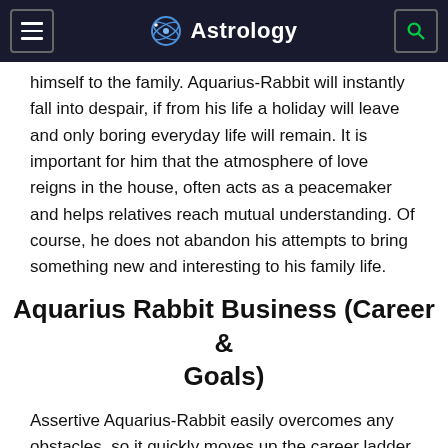Astrology
himself to the family. Aquarius-Rabbit will instantly fall into despair, if from his life a holiday will leave and only boring everyday life will remain. It is important for him that the atmosphere of love reigns in the house, often acts as a peacemaker and helps relatives reach mutual understanding. Of course, he does not abandon his attempts to bring something new and interesting to his family life.
Aquarius Rabbit Business (Career & Goals)
Assertive Aquarius-Rabbit easily overcomes any obstacles, so it quickly moves up the career ladder. If you are seriously passionate about your favorite business, in the heat of passion excuses everything in the world. He is able to succeed in any field, because he is able to